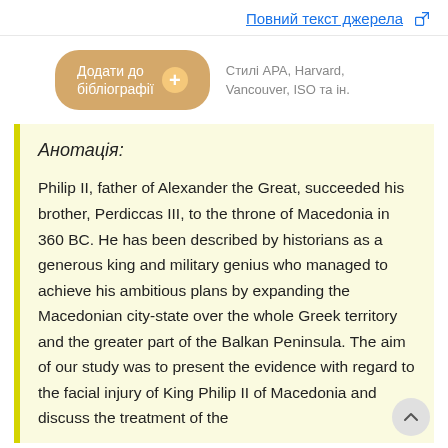Повний текст джерела
Додати до бібліографії  +   Стилі APA, Harvard, Vancouver, ISO та ін.
Анотація:
Philip II, father of Alexander the Great, succeeded his brother, Perdiccas III, to the throne of Macedonia in 360 BC. He has been described by historians as a generous king and military genius who managed to achieve his ambitious plans by expanding the Macedonian city-state over the whole Greek territory and the greater part of the Balkan Peninsula. The aim of our study was to present the evidence with regard to the facial injury of King Philip II of Macedonia and discuss the treatment of the